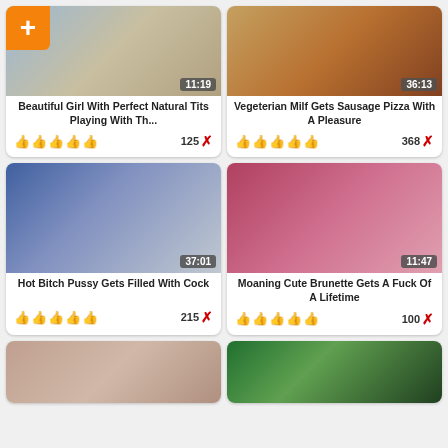[Figure (photo): Video thumbnail 1 with orange plus button, duration 11:19]
Beautiful Girl With Perfect Natural Tits Playing With Th...
👍👍👍👍👍  125 ✗
[Figure (photo): Video thumbnail 2, duration 36:13]
Vegeterian Milf Gets Sausage Pizza With A Pleasure
👍👍👍👍👍  368 ✗
[Figure (photo): Video thumbnail 3, duration 37:01]
Hot Bitch Pussy Gets Filled With Cock
👍👍👍👍👍  215 ✗
[Figure (photo): Video thumbnail 4, duration 11:47]
Moaning Cute Brunette Gets A Fuck Of A Lifetime
👍👍👍👍👍  100 ✗
[Figure (photo): Video thumbnail 5, partial view]
[Figure (photo): Video thumbnail 6, partial view]